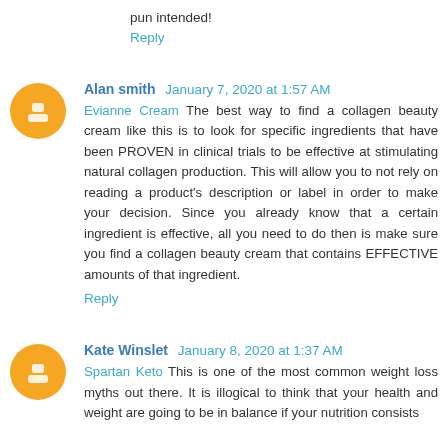pun intended!
Reply
Alan smith  January 7, 2020 at 1:57 AM
Evianne Cream The best way to find a collagen beauty cream like this is to look for specific ingredients that have been PROVEN in clinical trials to be effective at stimulating natural collagen production. This will allow you to not rely on reading a product's description or label in order to make your decision. Since you already know that a certain ingredient is effective, all you need to do then is make sure you find a collagen beauty cream that contains EFFECTIVE amounts of that ingredient.
Reply
Kate Winslet  January 8, 2020 at 1:37 AM
Spartan Keto This is one of the most common weight loss myths out there. It is illogical to think that your health and weight are going to be in balance if your nutrition consists